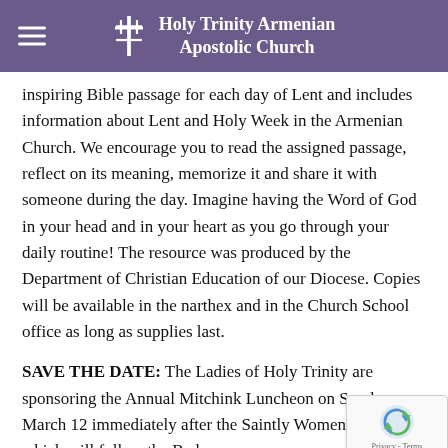Holy Trinity Armenian Apostolic Church
inspiring Bible passage for each day of Lent and includes information about Lent and Holy Week in the Armenian Church. We encourage you to read the assigned passage, reflect on its meaning, memorize it and share it with someone during the day. Imagine having the Word of God in your head and in your heart as you go through your daily routine! The resource was produced by the Department of Christian Education of our Diocese. Copies will be available in the narthex and in the Church School office as long as supplies last.
SAVE THE DATE: The Ladies of Holy Trinity are sponsoring the Annual Mitchink Luncheon on Sunday, March 12 immediately after the Saintly Women's program which will follow the Badara...